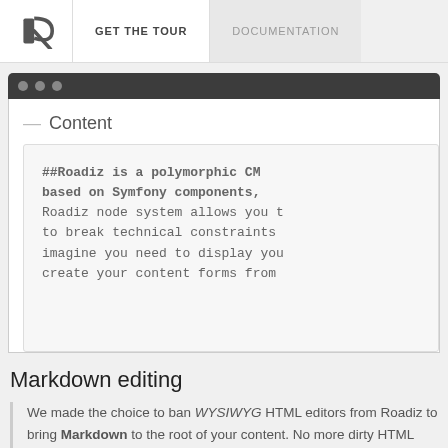GET THE TOUR | DOCUMENTATION
[Figure (screenshot): Browser window mockup showing a content editor field with monospaced markdown text: ##Roadiz is a polymorphic CM based on Symfony components, Roadiz node system allows you t to break technical constraints imagine you need to display you create your content forms from]
Markdown editing
We made the choice to ban WYSIWYG HTML editors from Roadiz to bring Markdown to the root of your content. No more dirty HTML formatting, your editors focus on content and your designers on CSS.